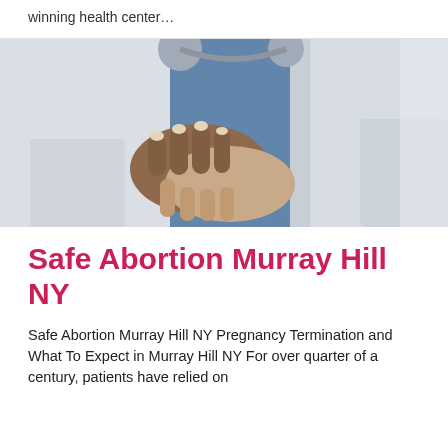winning health center…
[Figure (photo): Close-up photograph of a doctor in a white lab coat with a stethoscope holding hands with a patient, showing a comforting gesture. The doctor's blue scrubs are visible under the coat.]
Safe Abortion Murray Hill NY
Safe Abortion Murray Hill NY Pregnancy Termination and What To Expect in Murray Hill NY For over quarter of a century, patients have relied on